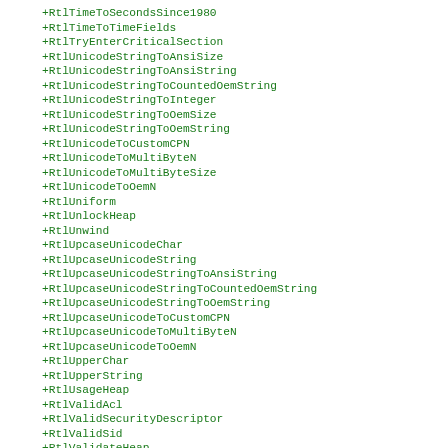+RtlTimeToSecondsSince1980
+RtlTimeToTimeFields
+RtlTryEnterCriticalSection
+RtlUnicodeStringToAnsiSize
+RtlUnicodeStringToAnsiString
+RtlUnicodeStringToCountedOemString
+RtlUnicodeStringToInteger
+RtlUnicodeStringToOemSize
+RtlUnicodeStringToOemString
+RtlUnicodeToCustomCPN
+RtlUnicodeToMultiByteN
+RtlUnicodeToMultiByteSize
+RtlUnicodeToOemN
+RtlUniform
+RtlUnlockHeap
+RtlUnwind
+RtlUpcaseUnicodeChar
+RtlUpcaseUnicodeString
+RtlUpcaseUnicodeStringToAnsiString
+RtlUpcaseUnicodeStringToCountedOemString
+RtlUpcaseUnicodeStringToOemString
+RtlUpcaseUnicodeToCustomCPN
+RtlUpcaseUnicodeToMultiByteN
+RtlUpcaseUnicodeToOemN
+RtlUpperChar
+RtlUpperString
+RtlUsageHeap
+RtlValidAcl
+RtlValidSecurityDescriptor
+RtlValidSid
+RtlValidateHeap
+RtlValidateProcessHeaps